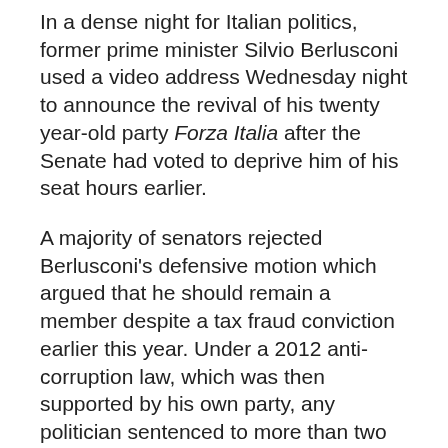In a dense night for Italian politics, former prime minister Silvio Berlusconi used a video address Wednesday night to announce the revival of his twenty year-old party Forza Italia after the Senate had voted to deprive him of his seat hours earlier.
A majority of senators rejected Berlusconi's defensive motion which argued that he should remain a member despite a tax fraud conviction earlier this year. Under a 2012 anti-corruption law, which was then supported by his own party, any politician sentenced to more than two years imprisonment should lose his seat.
The vote came after Berlusconi's appeal to a parallel verdict for corruption was rejected by the courts. The former premier and business tycoon was ordered to pay almost €500 million in damages for the illicit acquisition of a publishing company in 1991. This closed another escape hatch for the disgraced politician as President Giorgio Napolitano was unlikely to...